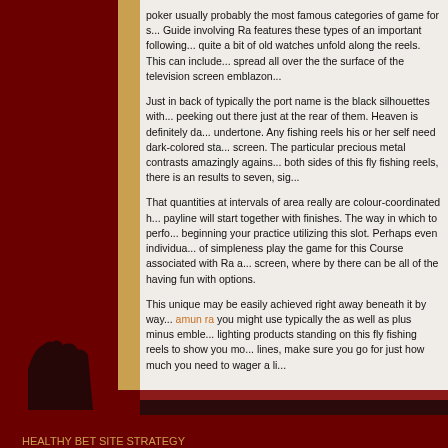poker usually probably the most famous categories of game for s... Guide involving Ra features these types of an important following... quite a bit of old watches unfold along the reels. This can include... spread all over the the surface of the television screen emblazon...
Just in back of typically the port name is the black silhouettes with... peeking out there just at the rear of them. Heaven is definitely da... undertone. Any fishing reels his or her self need dark-colored sta... screen. The particular precious metal contrasts amazingly agains... both sides of this fly fishing reels, there is an results to seven, sig...
That quantities at intervals of area really are colour-coordinated h... payline will start together with finishes. The way in which to perfo... beginning your practice utilizing this slot. Perhaps even individua... of simpleness play the game for this Course associated with Ra a... screen, where by there can be all of the having fun with options.
This unique may be easily achieved right away beneath it by way... amun ra you might use typically the as well as plus minus emble... lighting products standing on this fly fishing reels to show you mo... lines, make sure you go for just how much you need to wager a li...
HEALTHY BET SITE STRATEGY